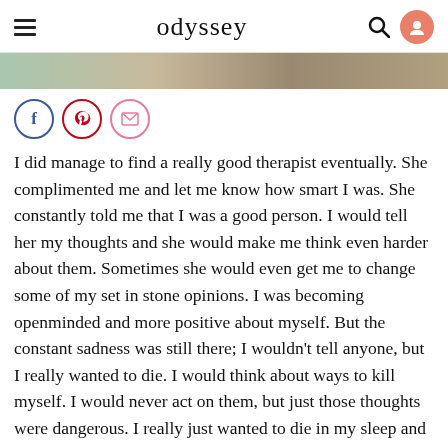odyssey
[Figure (photo): Partial image strip showing an outdoor nature scene, cropped at top of page]
[Figure (infographic): Social sharing icons: Facebook (blue circle), Pinterest (red circle), Email/envelope (pink circle)]
I did manage to find a really good therapist eventually. She complimented me and let me know how smart I was. She constantly told me that I was a good person. I would tell her my thoughts and she would make me think even harder about them. Sometimes she would even get me to change some of my set in stone opinions. I was becoming openminded and more positive about myself. But the constant sadness was still there; I wouldn't tell anyone, but I really wanted to die. I would think about ways to kill myself. I would never act on them, but just those thoughts were dangerous. I really just wanted to die in my sleep and not be in the world anymore. I couldn't handle it. The fact that I didn't die, however,